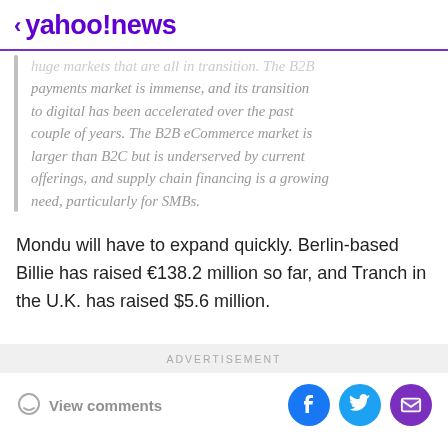< yahoo!news
huge markets that are all in transition. The B2B payments market is immense, and its transition to digital has been accelerated over the past couple of years. The B2B eCommerce market is larger than B2C but is underserved by current offerings, and supply chain financing is a growing need, particularly for SMBs.
Mondu will have to expand quickly. Berlin-based Billie has raised €138.2 million so far, and Tranch in the U.K. has raised $5.6 million.
ADVERTISEMENT
View comments